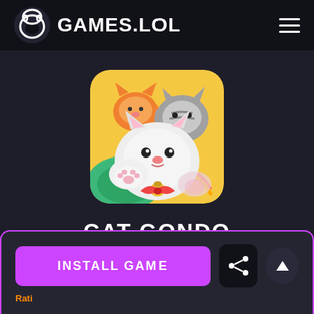GAMES.LOL
[Figure (illustration): Cat Condo game icon showing cute cartoon cats — a white cat with pink paw pads in front, a grey striped cat behind, and an orange cat in the background, on a colorful yellow and green background with rounded corners.]
CAT CONDO
INSTALL GAME
Rating